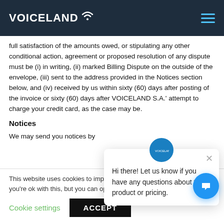VOICELAND
full satisfaction of the amounts owed, or stipulating any other conditional action, agreement or proposed resolution of any dispute must be (i) in writing, (ii) marked Billing Dispute on the outside of the envelope, (iii) sent to the address provided in the Notices section below, and (iv) received by us within sixty (60) days after posting of the invoice or sixty (60) days after VOICELAND S.A.' attempt to charge your credit card, as the case may be.
Notices
We may send you notices by...
This website uses cookies to improve your experience. We'll assume you're ok with this, but you can opt-out if you...
Hi there! Let us know if you have any questions about the product or pricing.